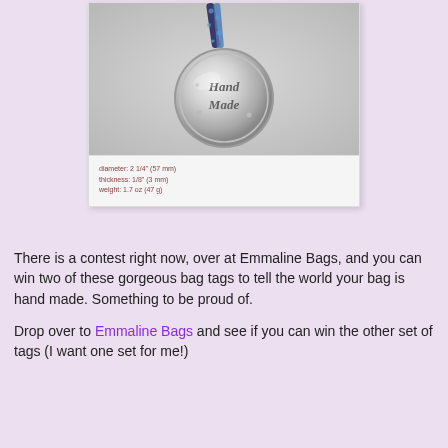[Figure (photo): A silver circular 'Hand Made' bag tag charm hanging from a blue and dark floral ribbon/lanyard, photographed on a light gray background. Below the photo are product specifications.]
diameter: 2 1/4" (57 mm)
thickness: 1/8" (3 mm)
weight: 1.7 oz (47 g)
There is a contest right now, over at Emmaline Bags, and you can win two of these gorgeous bag tags to tell the world your bag is hand made. Something to be proud of.
Drop over to Emmaline Bags and see if you can win the other set of tags (I want one set for me!)